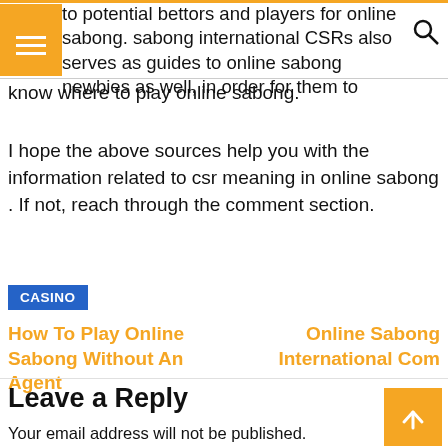to potential bettors and players for online sabong. sabong international CSRs also serves as guides to online sabong newbies as well, in order for them to know where to play online sabong.
I hope the above sources help you with the information related to csr meaning in online sabong . If not, reach through the comment section.
CASINO
How To Play Online Sabong Without An Agent
Online Sabong International Com
Leave a Reply
Your email address will not be published. Required fields are marked *